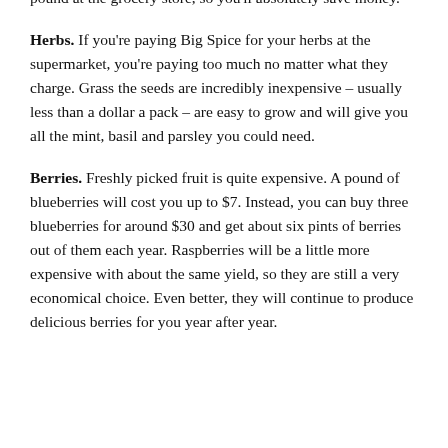pods, and you can plant your seeds a week or two apart for consistent yields. Fresh green beans go for $2 to $2.50 a pound at the grocery store, so you'll absolutely save money.
Herbs. If you're paying Big Spice for your herbs at the supermarket, you're paying too much no matter what they charge. Grass the seeds are incredibly inexpensive – usually less than a dollar a pack – are easy to grow and will give you all the mint, basil and parsley you could need.
Berries. Freshly picked fruit is quite expensive. A pound of blueberries will cost you up to $7. Instead, you can buy three blueberries for around $30 and get about six pints of berries out of them each year. Raspberries will be a little more expensive with about the same yield, so they are still a very economical choice. Even better, they will continue to produce delicious berries for you year after year.